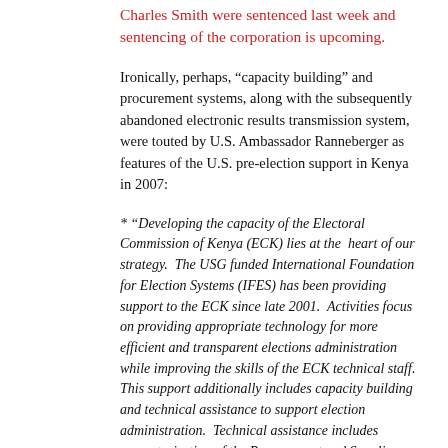Charles Smith were sentenced last week and sentencing of the corporation is upcoming.
Ironically, perhaps, “capacity building” and procurement systems, along with the subsequently abandoned electronic results transmission system, were touted by U.S. Ambassador Ranneberger as features of the U.S. pre-election support in Kenya in 2007:
* “Developing the capacity of the Electoral Commission of Kenya (ECK) lies at the heart of our strategy. The USG funded International Foundation for Election Systems (IFES) has been providing support to the ECK since late 2001. Activities focus on providing appropriate technology for more efficient and transparent elections administration while improving the skills of the ECK technical staff. This support additionally includes capacity building and technical assistance to support election administration. Technical assistance includes computerization of the Procurement and Supplies Department, which is responsible for printing and distributing election materials. Assistance will also support implementation of the ECK’s